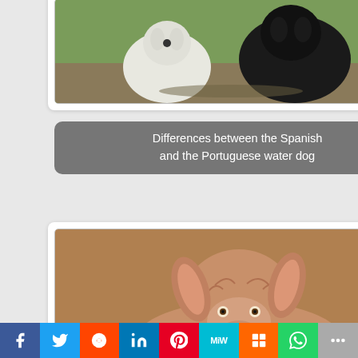[Figure (photo): Two dogs standing together - a white dog and a dark curly-coated dog, outdoors on a wet surface]
Differences between the Spanish and the Portuguese water dog
[Figure (photo): Close-up of a Portuguese Podenco dog with large ears, rough reddish-white coat, looking at camera]
The Portuguese Podenco - Discover the characteristics of the...
[Figure (photo): Partially visible third dog photo at the bottom of the page]
f  Twitter  Reddit  in  Pinterest  MW  Mix  WhatsApp  Share